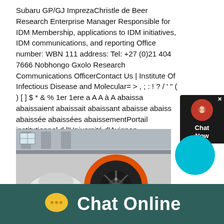Subaru GP/GJ ImprezaChristle de Beer Research Enterprise Manager Responsible for IDM Membership, applications to IDM initiatives, IDM communications, and reporting Office number: WBN 111 address: Tel: +27 (0)21 404 7666 Nobhongo Gxolo Research Communications OfficerContact Us | Institute Of Infectious Disease and Molecular= > , ; : ! ? / ' " ( ) [ ] $ * & % 1er 1ere a A A à A abaissa abaissaient abaissait abaissant abaisse abaiss abaissée abaissées abaissementPortail institutionnel d l'Université d'Avignon
[Figure (photo): Industrial machinery - jaw crusher or similar heavy equipment in a factory setting, with orange and black flywheel visible]
[Figure (infographic): Chat Online footer banner with yellow speech bubble icon and white text on dark teal background]